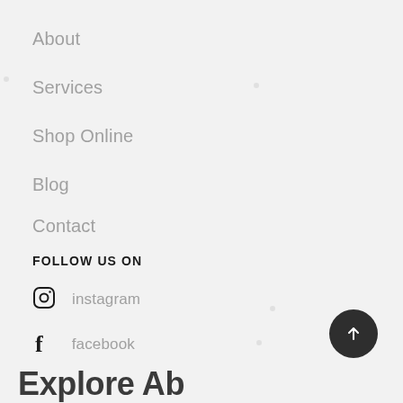About
Services
Shop Online
Blog
Contact
FOLLOW US ON
instagram
facebook
Explore Ab...